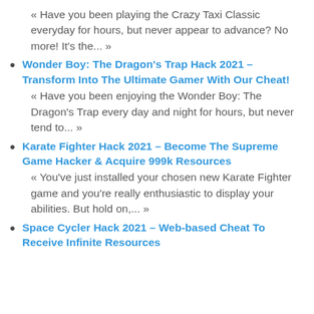« Have you been playing the Crazy Taxi Classic everyday for hours, but never appear to advance? No more! It's the... »
Wonder Boy: The Dragon's Trap Hack 2021 – Transform Into The Ultimate Gamer With Our Cheat!
« Have you been enjoying the Wonder Boy: The Dragon's Trap every day and night for hours, but never tend to... »
Karate Fighter Hack 2021 – Become The Supreme Game Hacker & Acquire 999k Resources
« You've just installed your chosen new Karate Fighter game and you're really enthusiastic to display your abilities. But hold on,... »
Space Cycler Hack 2021 – Web-based Cheat To Receive Infinite Resources